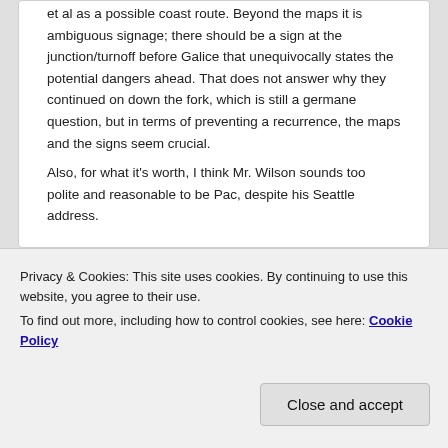et al as a possible coast route. Beyond the maps it is ambiguous signage; there should be a sign at the junction/turnoff before Galice that unequivocally states the potential dangers ahead. That does not answer why they continued on down the fork, which is still a germane question, but in terms of preventing a recurrence, the maps and the signs seem crucial.
Also, for what it's worth, I think Mr. Wilson sounds too polite and reasonable to be Pac, despite his Seattle address.
Reply ↓
Privacy & Cookies: This site uses cookies. By continuing to use this website, you agree to their use.
To find out more, including how to control cookies, see here: Cookie Policy
Close and accept